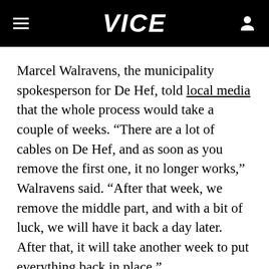VICE
Marcel Walravens, the municipality spokesperson for De Hef, told local media that the whole process would take a couple of weeks. “There are a lot of cables on De Hef, and as soon as you remove the first one, it no longer works,” Walravens said. “After that week, we remove the middle part, and with a bit of luck, we will have it back a day later. After that, it will take another week to put everything back in place.”
Rotterdam’s mayor, Ahmed Aboutaleb, has tried